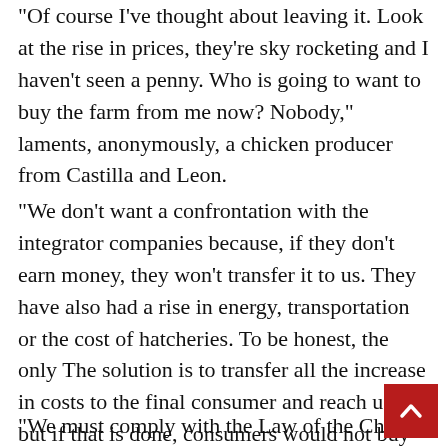"Of course I've thought about leaving it. Look at the rise in prices, they're sky rocketing and I haven't seen a penny. Who is going to want to buy the farm from me now? Nobody," laments, anonymously, a chicken producer from Castilla and Leon.
"We don't want a confrontation with the integrator companies because, if they don't earn money, they won't transfer it to us. They have also had a rise in energy, transportation or the cost of hatcheries. To be honest, the only The solution is to transfer all the increase in costs to the final consumer and reach us all, but if that is done, consumers would not buy chicken and, furthermore, prices cannot be intervened by law", he reflects, for his part, Javier Sanmartin.
"We must comply with the Law of the Chain, in all